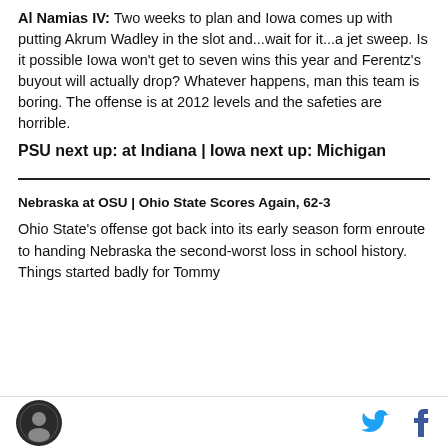Al Namias IV: Two weeks to plan and Iowa comes up with putting Akrum Wadley in the slot and...wait for it...a jet sweep. Is it possible Iowa won't get to seven wins this year and Ferentz's buyout will actually drop? Whatever happens, man this team is boring. The offense is at 2012 levels and the safeties are horrible.
PSU next up: at Indiana | Iowa next up: Michigan
Nebraska at OSU | Ohio State Scores Again, 62-3
Ohio State's offense got back into its early season form enroute to handing Nebraska the second-worst loss in school history. Things started badly for Tommy